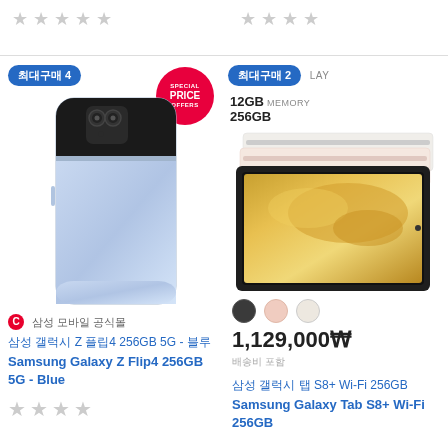[Figure (other): Star rating row at top left - 5 grey stars]
[Figure (other): Star rating row at top right - 4 grey stars]
[Figure (photo): Samsung Galaxy Z Flip4 256GB 5G Blue phone image, flip phone form factor with dark camera module on top]
최대구매 4
SPECIAL PRICE OFFERS
삼성 갤럭시 Z 플립4 256GB 5G - 블루
Samsung Galaxy Z Flip4 256GB 5G - Blue
[Figure (other): 4 grey stars rating for left product]
최대구매 2
DISPLAY
12GB MEMORY
256GB
[Figure (photo): Samsung Galaxy Tab S8+ Wi-Fi 256GB tablet image with keyboard covers in multiple colors]
[Figure (other): Color swatches: dark grey, pink, light beige]
1,129,000₩
배송비 포함
삼성 갤럭시 탭 S8+ Wi-Fi 256GB
Samsung Galaxy Tab S8+ Wi-Fi 256GB